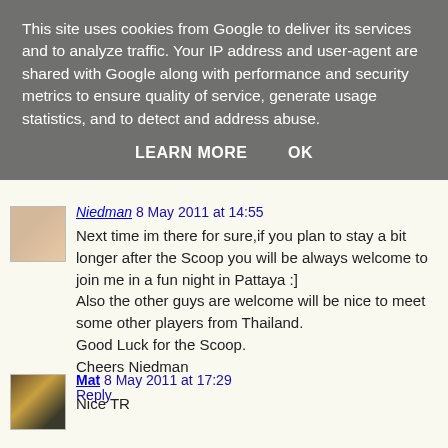This site uses cookies from Google to deliver its services and to analyze traffic. Your IP address and user-agent are shared with Google along with performance and security metrics to ensure quality of service, generate usage statistics, and to detect and address abuse.
LEARN MORE   OK
Niedman 8 May 2011 at 14:55
Next time im there for sure,if you plan to stay a bit longer after the Scoop you will be always welcome to join me in a fun night in Pattaya :]
Also the other guys are welcome will be nice to meet some other players from Thailand.
Good Luck for the Scoop.
Cheers Niedman
Reply
Mat 8 May 2011 at 17:29
Nice TR